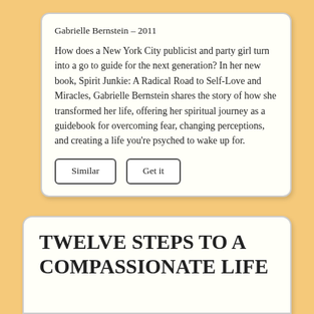Gabrielle Bernstein – 2011
How does a New York City publicist and party girl turn into a go to guide for the next generation? In her new book, Spirit Junkie: A Radical Road to Self-Love and Miracles, Gabrielle Bernstein shares the story of how she transformed her life, offering her spiritual journey as a guidebook for overcoming fear, changing perceptions, and creating a life you're psyched to wake up for.
Similar
Get it
Twelve Steps to a Compassionate Life